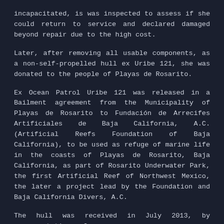incapacitated, is was inspected to assess if she could return to service and declared damaged beyond repair due to the high cost.
Later, after removing all usable components, as a non-self-propelled hull ex Uribe 121, she was donated to the people of Playas de Rosarito.
Ex Ocean Patrol Uribe 121 was released in a Bailment agreement from the Municipality of Playas de Rosarito to Fundación de Arrecifes Artificiales de Baja California, A.C. (Artificial Reefs Foundation of Baja California), to be used as refuge of marine life in the coasts of Playas de Rosarito, Baja California, as part of Rosarito Underwater Park, the first Artificial Reef of Northwest Mexico, the later a project lead by the Foundation and Baja California Divers, A.C.
The hull was received in July 2013, by representatives of